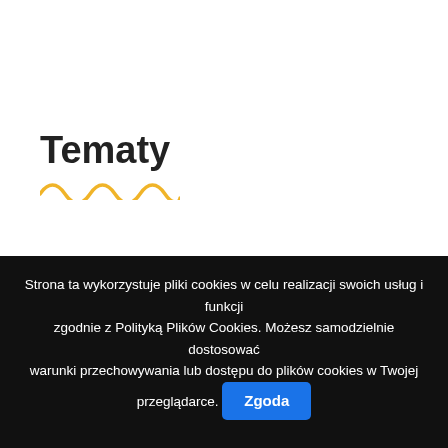Tematy
★  Aktualności  35
★  COVID-19  2
★  Cyfrowa Edukacja  4
Strona ta wykorzystuje pliki cookies w celu realizacji swoich usług i funkcji zgodnie z Polityką Plików Cookies. Możesz samodzielnie dostosować warunki przechowywania lub dostępu do plików cookies w Twojej przeglądarce. Zgoda